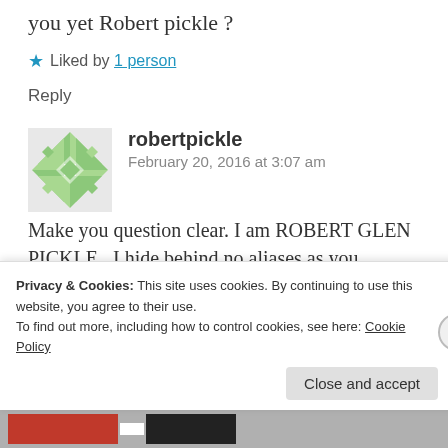you yet Robert pickle ?
★ Liked by 1 person
Reply
[Figure (illustration): Green and white geometric avatar/gravatar image for user robertpickle]
robertpickle
February 20, 2016 at 3:07 am
Make you question clear. I am ROBERT GLEN PICKLE...I hide behind no aliases as you do.....Make yourself clear and
Privacy & Cookies: This site uses cookies. By continuing to use this website, you agree to their use.
To find out more, including how to control cookies, see here: Cookie Policy
Close and accept